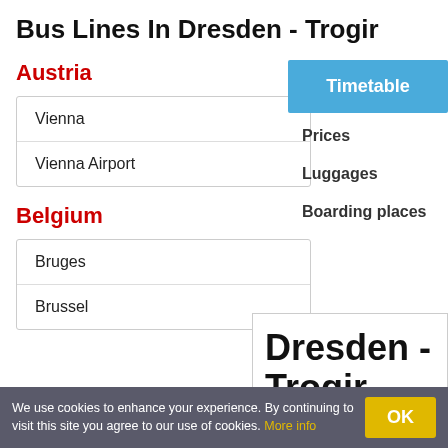Bus Lines In Dresden - Trogir
Austria
Vienna
Vienna Airport
Belgium
Bruges
Brussel
[Figure (screenshot): Navigation menu with Timetable (highlighted blue), Prices, Luggages, Boarding places options, and a Dresden - Trogir info box]
We use cookies to enhance your experience. By continuing to visit this site you agree to our use of cookies. More info
OK